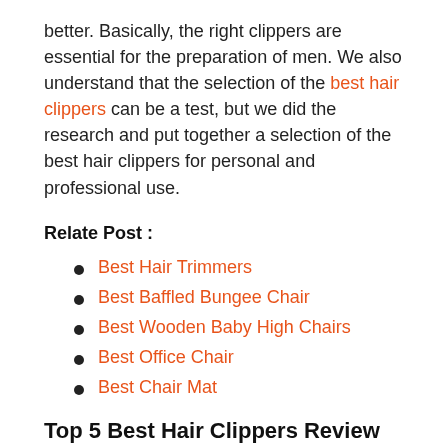better. Basically, the right clippers are essential for the preparation of men. We also understand that the selection of the best hair clippers can be a test, but we did the research and put together a selection of the best hair clippers for personal and professional use.
Relate Post :
Best Hair Trimmers
Best Baffled Bungee Chair
Best Wooden Baby High Chairs
Best Office Chair
Best Chair Mat
Top 5 Best Hair Clippers Review